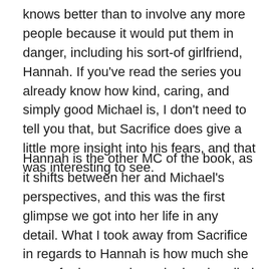knows better than to involve any more people because it would put them in danger, including his sort-of girlfriend, Hannah. If you've read the series you already know how kind, caring, and simply good Michael is, I don't need to tell you that, but Sacrifice does give a little more insight into his fears, and that was interesting to see.
Hannah is the other MC of the book, as it shifts between her and Michael's perspectives, and this was the first glimpse we got into her life in any detail. What I took away from Sacrifice in regards to Hannah is how much she cares for her son, how she has handled having a child when she was 17 until now, and how her relationships with her family and the people around her have affected the way she sees the world. She's tough, she's a fighter, but she's also not the most trusting, usually jumping to a negative conclusion about people who are trying to help